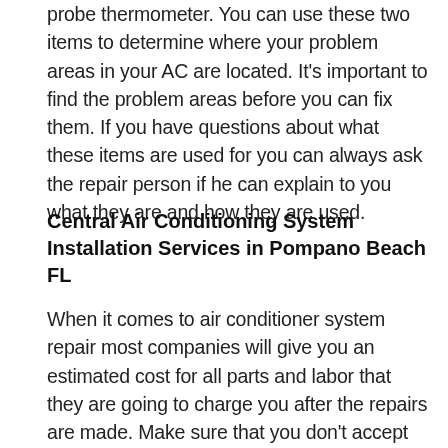probe thermometer. You can use these two items to determine where your problem areas in your AC are located. It's important to find the problem areas before you can fix them. If you have questions about what these items are used for you can always ask the repair person if he can explain to you what they are and how they are used.
Central Air Conditioning System Installation Services in Pompano Beach FL
When it comes to air conditioner system repair most companies will give you an estimated cost for all parts and labor that they are going to charge you after the repairs are made. Make sure that you don't accept the estimate they give you simply because it is an estimate. Ask to see the real bill